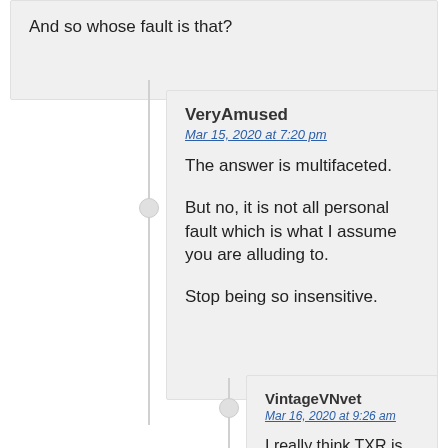And so whose fault is that?
VeryAmused
Mar 15, 2020 at 7:20 pm

The answer is multifaceted.

But no, it is not all personal fault which is what I assume you are alluding to.

Stop being so insensitive.
VintageVNvet
Mar 16, 2020 at 9:26 am

I really think TXR is right on the